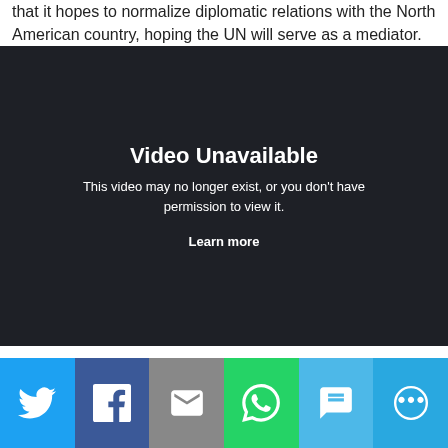that it hopes to normalize diplomatic relations with the North American country, hoping the UN will serve as a mediator.
[Figure (screenshot): Video Unavailable placeholder. Text reads: 'Video Unavailable. This video may no longer exist, or you don't have permission to view it. Learn more']
[Figure (infographic): Social share bar with icons for Twitter, Facebook, Email, WhatsApp, SMS, and More]